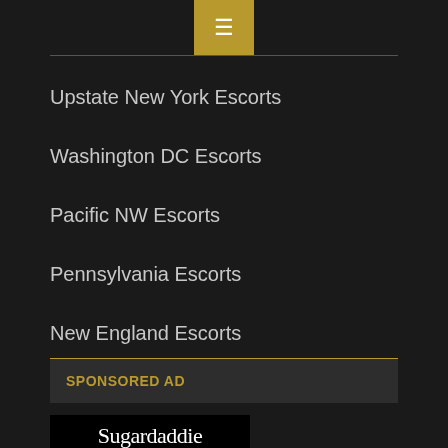[Figure (other): Menu button with hamburger icon on gold/tan background]
Upstate New York Escorts
Washington DC Escorts
Pacific NW Escorts
Pennsylvania Escorts
New England Escorts
SPONSORED AD
[Figure (logo): Sugardaddie.com logo on black background with decorative text below]